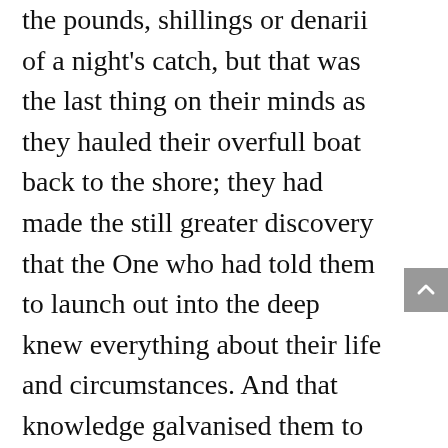the pounds, shillings or denarii of a night's catch, but that was the last thing on their minds as they hauled their overfull boat back to the shore; they had made the still greater discovery that the One who had told them to launch out into the deep knew everything about their life and circumstances. And that knowledge galvanised them to be willing to part with all earthly security in order to follow Him. At the very time when relative riches beckoned, they were prepared to part with all to follow Jesus. What a testimony!